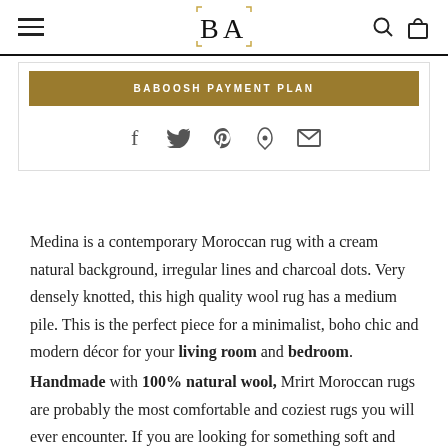BA — Baboosh Art logo with hamburger menu, search and bag icons
BABOOSH PAYMENT PLAN
[Figure (other): Social share icons: Facebook, Twitter, Pinterest, Fancy, Email]
Medina is a contemporary Moroccan rug with a cream natural background, irregular lines and charcoal dots. Very densely knotted, this high quality wool rug has a medium pile. This is the perfect piece for a minimalist, boho chic and modern décor for your living room and bedroom.
Handmade with 100% natural wool, Mrirt Moroccan rugs are probably the most comfortable and coziest rugs you will ever encounter. If you are looking for something soft and plush to